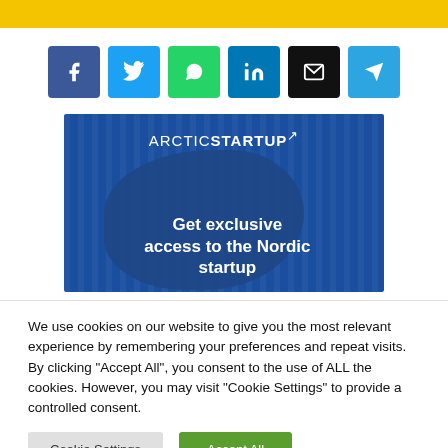[Figure (infographic): Social sharing buttons row: Facebook (blue), Twitter (cyan), WhatsApp (green), LinkedIn (dark teal), Email (black), Telegram (blue)]
[Figure (infographic): ArcticStartup banner with blue background and text: Get exclusive access to the Nordic startup]
We use cookies on our website to give you the most relevant experience by remembering your preferences and repeat visits. By clicking "Accept All", you consent to the use of ALL the cookies. However, you may visit "Cookie Settings" to provide a controlled consent.
Cookie Settings | Accept All